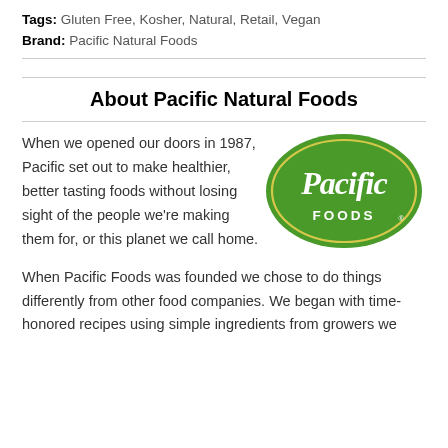Tags: Gluten Free, Kosher, Natural, Retail, Vegan
Brand: Pacific Natural Foods
About Pacific Natural Foods
When we opened our doors in 1987, Pacific set out to make healthier, better tasting foods without losing sight of the people we're making them for, or this planet we call home.
[Figure (logo): Pacific Foods logo — green oval with white italic script 'Pacific' and 'FOODS.' text, with a thin yellow border ring]
When Pacific Foods was founded we chose to do things differently from other food companies. We began with time-honored recipes using simple ingredients from growers we